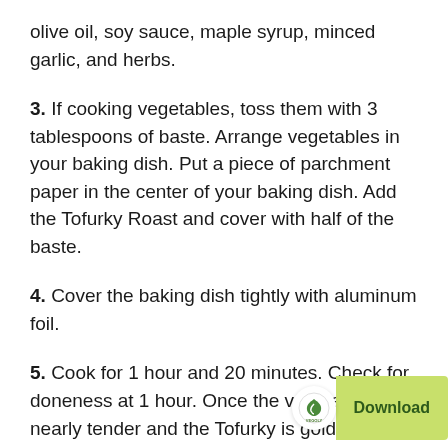olive oil, soy sauce, maple syrup, minced garlic, and herbs.
3. If cooking vegetables, toss them with 3 tablespoons of baste. Arrange vegetables in your baking dish. Put a piece of parchment paper in the center of your baking dish. Add the Tofurky Roast and cover with half of the baste.
4. Cover the baking dish tightly with aluminum foil.
5. Cook for 1 hour and 20 minutes. Check for doneness at 1 hour. Once the vegetables are nearly tender and the Tofurky is golden-brown, pour the remaining baste over the Tofurky and cook, uncovered, for an additional 10-15 minutes until the vegetables are tender and the Tofurky Roast